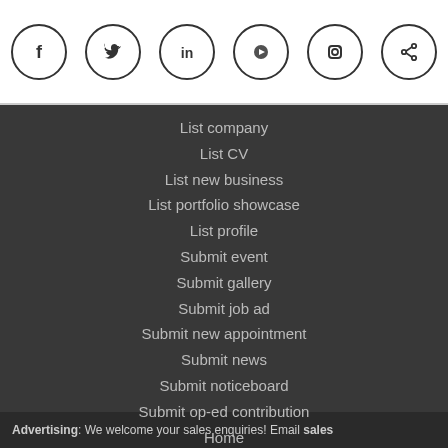[Figure (illustration): Row of six social media icon circles: Facebook (f), Twitter (bird), LinkedIn (in), YouTube (play button), Instagram (camera), Share (arrow)]
List company
List CV
List new business
List portfolio showcase
List profile
Submit event
Submit gallery
Submit job ad
Submit new appointment
Submit news
Submit noticeboard
Submit op-ed contribution
Home
My job ads
My events
My company
My CV
Advertising: We welcome your sales enquiries! Email sales